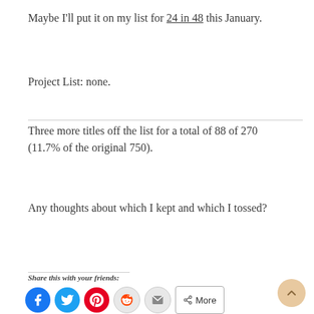Maybe I'll put it on my list for 24 in 48 this January.
Project List: none.
Three more titles off the list for a total of 88 of 270 (11.7% of the original 750).
Any thoughts about which I kept and which I tossed?
Share this with your friends: